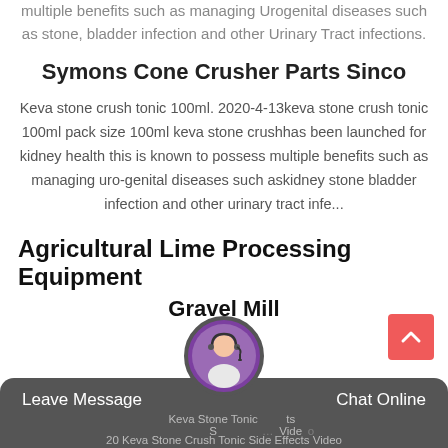multiple benefits such as managing Urogenital diseases such as stone, bladder infection and other Urinary Tract infections.
Symons Cone Crusher Parts Sinco
Keva stone crush tonic 100ml. 2020-4-13keva stone crush tonic 100ml pack size 100ml keva stone crushhas been launched for kidney health this is known to possess multiple benefits such as managing uro-genital diseases such askidney stone bladder infection and other urinary tract infe...
Agricultural Lime Processing Equipment
Gravel Mill
Keva Stone Tonic Side Effects Video 20-5-20 Keva Stone Crush Tonic Side Effects Video